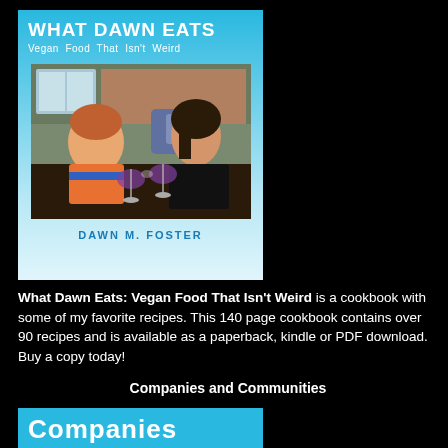[Figure (illustration): Book cover for 'What Dawn Eats: Vegan Food That Isn't Weird' by Dawn M. Foster. Blue gradient background with white title text, book cover photo showing a boy and woman toasting with wine glasses, and author name in teal letters.]
What Dawn Eats: Vegan Food That Isn't Weird is a cookbook with some of my favorite recipes. This 140 page cookbook contains over 90 recipes and is available as a paperback, kindle or PDF download. Buy a copy today!
Companies and Communities
[Figure (illustration): Partial view of a 'Companies' section box with cyan/blue background and white bold text reading 'Companies']